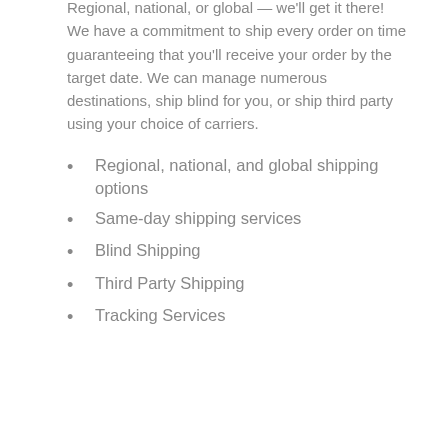Regional, national, or global — we'll get it there! We have a commitment to ship every order on time guaranteeing that you'll receive your order by the target date. We can manage numerous destinations, ship blind for you, or ship third party using your choice of carriers.
Regional, national, and global shipping options
Same-day shipping services
Blind Shipping
Third Party Shipping
Tracking Services